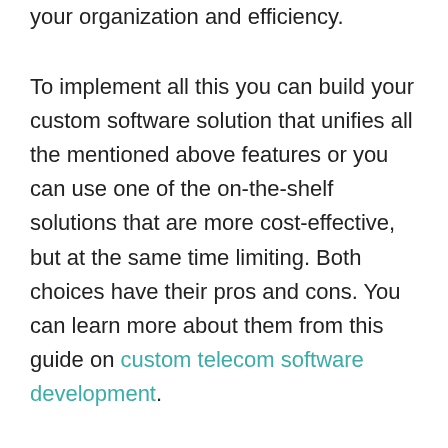your organization and efficiency.
To implement all this you can build your custom software solution that unifies all the mentioned above features or you can use one of the on-the-shelf solutions that are more cost-effective, but at the same time limiting. Both choices have their pros and cons. You can learn more about them from this guide on custom telecom software development.
As you look to launch your own virtual office services, having the requisite technology in place that allows you to provide the expected services is the most important step. Once the technology is in place, you can slowly begin to reap the benefits of virtual offices for coworking operators, bringing in